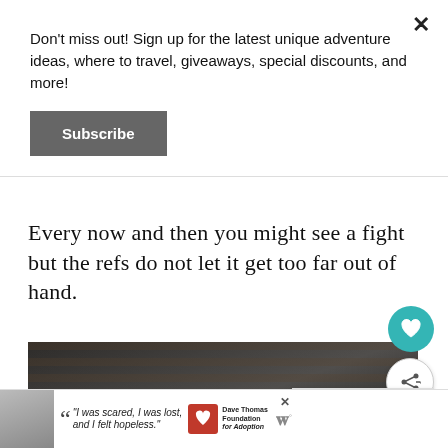Don't miss out! Sign up for the latest unique adventure ideas, where to travel, giveaways, special discounts, and more!
Subscribe
Every now and then you might see a fight but the refs do not let it get too far out of hand.
[Figure (photo): Crowd of spectators in stadium seating, viewed from ice level at a hockey rink. Overlay shows heart/save button, share button, and a 'What's Next' panel reading 'Cincinnati Cyclones...']
[Figure (photo): Advertisement banner at bottom: woman with quote 'I was scared, I was lost, and I felt hopeless.' with Dave Thomas Foundation for Adoption logo.]